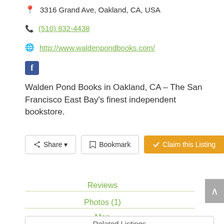3316 Grand Ave, Oakland, CA, USA
(510) 832-4438
http://www.waldenpondbooks.com/
[Figure (logo): Facebook logo icon (blue square with white f)]
Walden Pond Books in Oakland, CA – The San Francisco East Bay's finest independent bookstore.
Share  Bookmark  Claim this Listing
Reviews
Photos (1)
Map
Related Listings